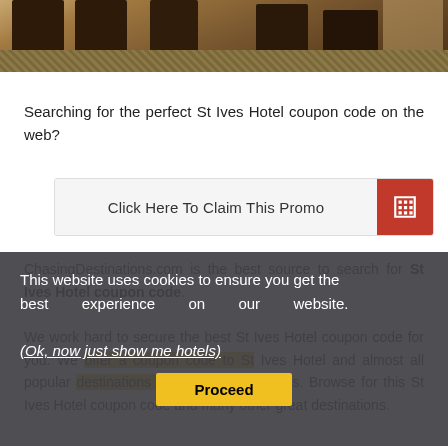[Figure (photo): Photo of restaurant/dining area with dark wooden chairs and patterned carpet]
Searching for the perfect St Ives Hotel coupon code on the web?
[Figure (other): Click Here To Claim This Promo button with red icon]
ChasingDestinations.com is the best source to search for St Ives Hotel coupon code.
This website uses cookies to ensure you get the best experience on our website. (Ok, now just show me hotels)
We work hard to secure the best St Ives Hotel coupon code for you. We offer a coupon code to St Ives Hotel and almost all popular destinations near Lytham St Annes. Browse for this St Ives Hotel coupon code and many other great destinations.
[Figure (other): Proceed button with yellow background]